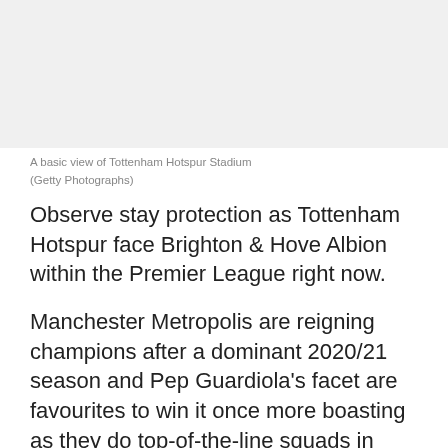[Figure (photo): A basic view of Tottenham Hotspur Stadium (image area, appears blank/light in this rendering)]
A basic view of Tottenham Hotspur Stadium
(Getty Photographs)
Observe stay protection as Tottenham Hotspur face Brighton & Hove Albion within the Premier League right now.
Manchester Metropolis are reigning champions after a dominant 2020/21 season and Pep Guardiola's facet are favourites to win it once more boasting as they do top-of-the-line squads in Europe.
European champions Chelsea have confirmed they've what it takes to dethrone Metropolis, nonetheless, having